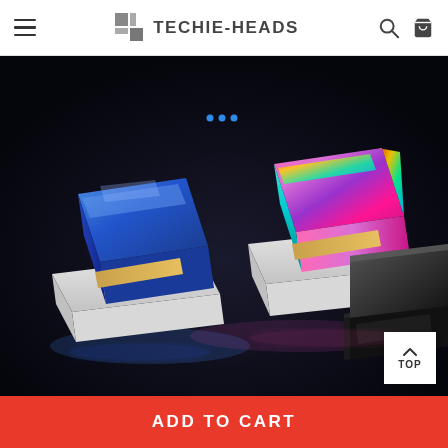TECHIE-HEADS
[Figure (photo): Product photo showing three electric arc lighters on white display stands against a dark background. Left: blue metallic lighter. Center: rainbow/iridescent lighter in pink-magenta tones. Right: black glossy lighter partially visible.]
TOP